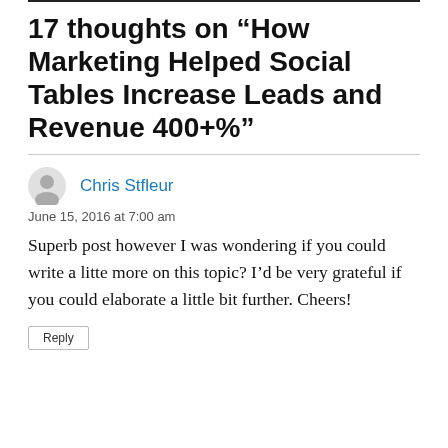17 thoughts on “How Marketing Helped Social Tables Increase Leads and Revenue 400+%”
Chris Stfleur
June 15, 2016 at 7:00 am
Superb post however I was wondering if you could write a litte more on this topic? I’d be very grateful if you could elaborate a little bit further. Cheers!